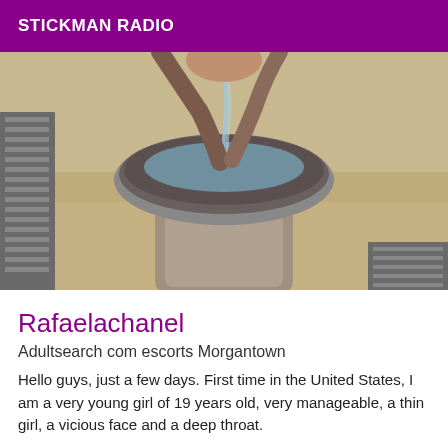STICKMAN RADIO
[Figure (photo): Outdoor drinking fountain/water fountain made of grey stone/granite, with water flowing from the spigot, set against a sandy/dirt ground background.]
Rafaelachanel
Adultsearch com escorts Morgantown
Hello guys, just a few days. First time in the United States, I am a very young girl of 19 years old, very manageable, a thin girl, a vicious face and a deep throat.